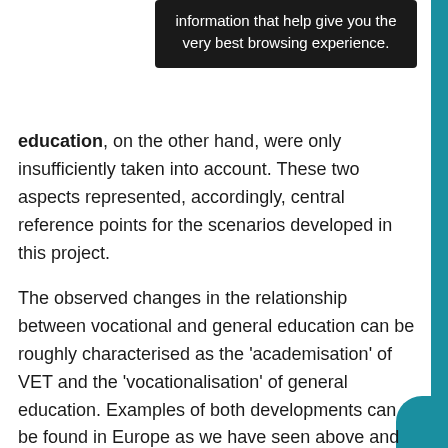information that help give you the very best browsing experience.
education, on the other hand, were only insufficiently taken into account. These two aspects represented, accordingly, central reference points for the scenarios developed in this project.
The observed changes in the relationship between vocational and general education can be roughly characterised as the 'academisation' of VET and the 'vocationalisation' of general education. Examples of both developments can be found in Europe as we have seen above and also within individual countries as illustrated in the contributions on the Netherlands, Switzerland, Poland and Hungary in this volume. For example, in some countries work-oriented